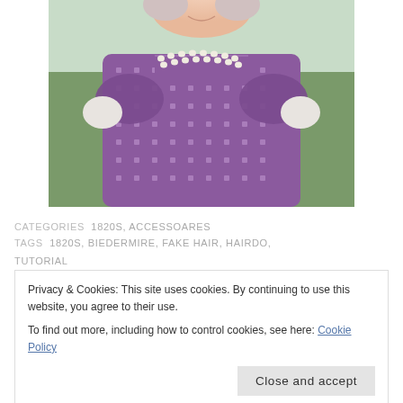[Figure (photo): A person wearing a purple/mauve patterned dress with white floral/snowflake print, pearl necklace, and white gloves, photographed outdoors from chest up.]
CATEGORIES  1820S, ACCESSOARES
TAGS  1820S, BIEDERMIRE, FAKE HAIR, HAIRDO, TUTORIAL
Privacy & Cookies: This site uses cookies. By continuing to use this website, you agree to their use.
To find out more, including how to control cookies, see here: Cookie Policy
Close and accept